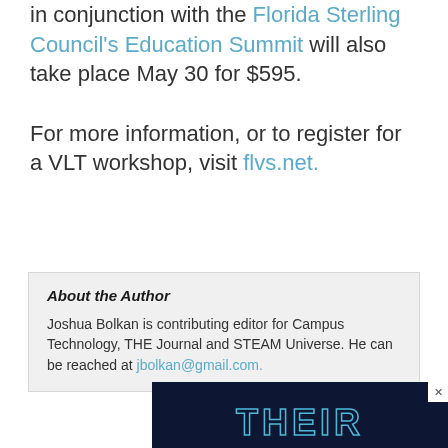in conjunction with the Florida Sterling Council's Education Summit will also take place May 30 for $595.
For more information, or to register for a VLT workshop, visit flvs.net.
About the Author
Joshua Bolkan is contributing editor for Campus Technology, THE Journal and STEAM Universe. He can be reached at jbolkan@gmail.com.
[Figure (other): Dark navy blue advertisement banner showing the word THEIR in large outline letters in a cyan/blue color]